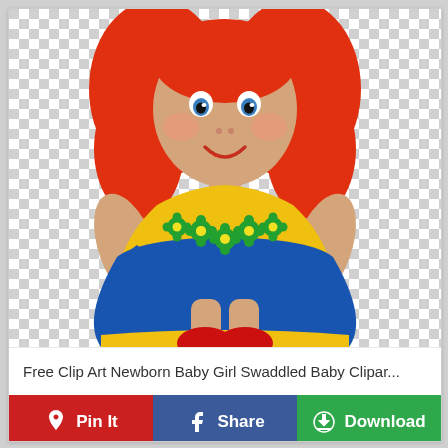[Figure (illustration): Cartoon clip art of a baby girl doll with red/orange hair, a yellow top with green flower decorations, a blue skirt with yellow hem, and red shoes. The figure is shown from the waist up cropped at the top, against a checkered (transparent) background.]
Free Clip Art Newborn Baby Girl Swaddled Baby Clipar...
Pin It
Share
Download